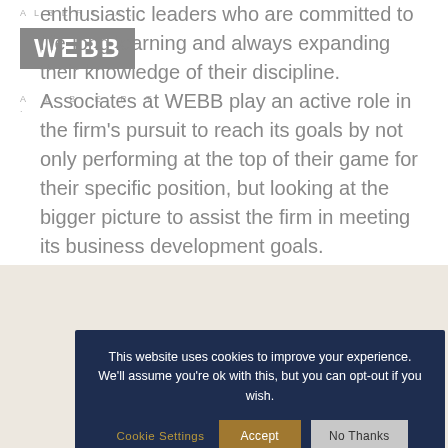enthusiastic leaders who are committed to life-long learning and always expanding their knowledge of their discipline. Associates at WEBB play an active role in the firm's pursuit to reach its goals by not only performing at the top of their game for their specific position, but looking at the bigger picture to assist the firm in meeting its business development goals.
This website uses cookies to improve your experience. We'll assume you're ok with this, but you can opt-out if you wish.